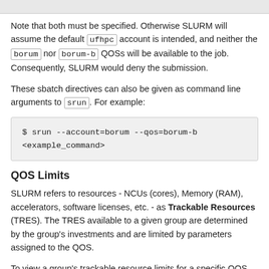Note that both must be specified. Otherwise SLURM will assume the default ufhpc account is intended, and neither the borum nor borum-b QOSs will be available to the job. Consequently, SLURM would deny the submission.
These sbatch directives can also be given as command line arguments to srun. For example:
$ srun --account=borum --qos=borum-b
<example_command>
QOS Limits
SLURM refers to resources - NCUs (cores), Memory (RAM), accelerators, software licenses, etc. - as Trackable Resources (TRES). The TRES available to a given group are determined by the group's investments and are limited by parameters assigned to the QOS.
To view a group's trackable resource limits for a specific QOS, use